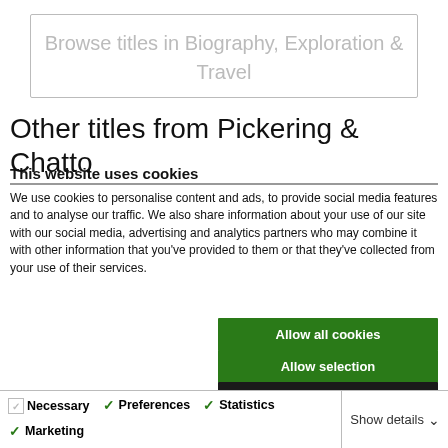Browse titles in Biography, Exploration & Travel
Other titles from Pickering & Chatto
This website uses cookies
We use cookies to personalise content and ads, to provide social media features and to analyse our traffic. We also share information about your use of our site with our social media, advertising and analytics partners who may combine it with other information that you've provided to them or that they've collected from your use of their services.
Allow all cookies
Allow selection
Use necessary cookies only
Necessary  Preferences  Statistics  Marketing  Show details